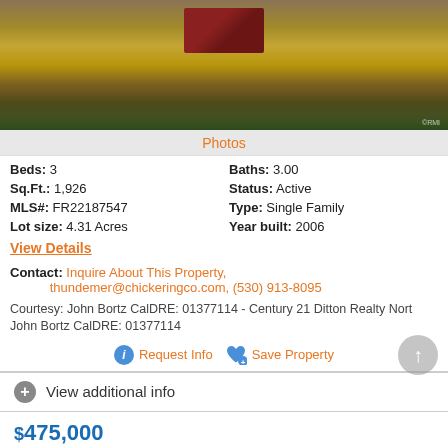[Figure (photo): Aerial view of a red house/building surrounded by dry grassland and trees]
Photos
Beds: 3   Baths: 3.00
Sq.Ft.: 1,926   Status: Active
MLS#: FR22187547   Type: Single Family
Lot size: 4.31 Acres   Year built: 2006
View Details
Contact: Inquire About This Property, thundemer@chickeringco.com, (530) 913-8095
Courtesy: John Bortz CalDRE: 01377114 - Century 21 Ditton Realty Nort John Bortz CalDRE: 01377114
Request Info   Save Property
View additional info
$475,000